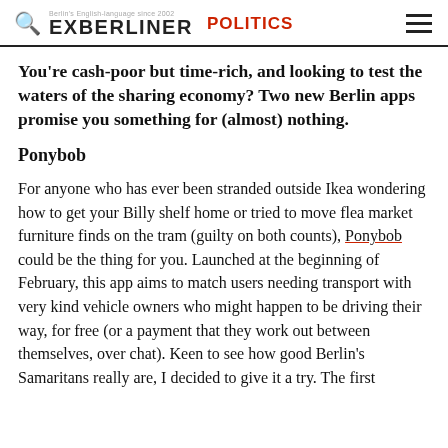EXBERLINER POLITICS
You're cash-poor but time-rich, and looking to test the waters of the sharing economy? Two new Berlin apps promise you something for (almost) nothing.
Ponybob
For anyone who has ever been stranded outside Ikea wondering how to get your Billy shelf home or tried to move flea market furniture finds on the tram (guilty on both counts), Ponybob could be the thing for you. Launched at the beginning of February, this app aims to match users needing transport with very kind vehicle owners who might happen to be driving their way, for free (or a payment that they work out between themselves, over chat). Keen to see how good Berlin's Samaritans really are, I decided to give it a try. The first